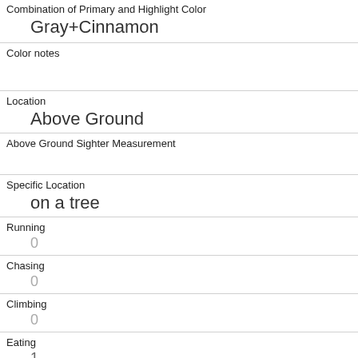| Combination of Primary and Highlight Color | Gray+Cinnamon |
| Color notes |  |
| Location | Above Ground |
| Above Ground Sighter Measurement |  |
| Specific Location | on a tree |
| Running | 0 |
| Chasing | 0 |
| Climbing | 0 |
| Eating | 1 |
| Foraging | 1 |
| Other Activities |  |